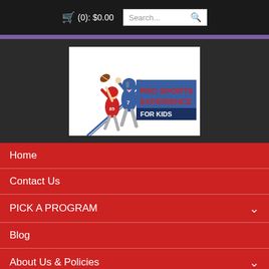🛒 (0): $0.00   Search...
[Figure (logo): Pro Sports Experience For Kids logo with football players illustration]
Home
Contact Us
PICK A PROGRAM
Blog
About Us & Policies
Home / Camps / Chicago NFL Alumni Youth Football / NFLA-CHI22 @ Winnetka, M-F, July 25-29, 8:30am-11: ... /